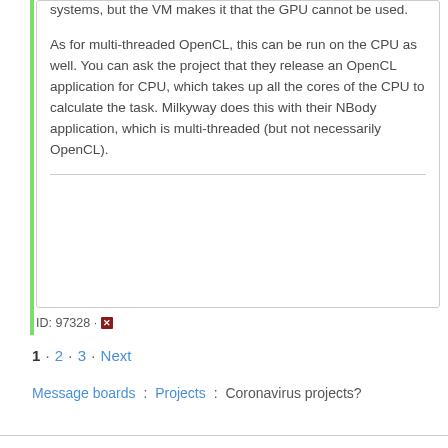systems, but the VM makes it that the GPU cannot be used.

As for multi-threaded OpenCL, this can be run on the CPU as well. You can ask the project that they release an OpenCL application for CPU, which takes up all the cores of the CPU to calculate the task. Milkyway does this with their NBody application, which is multi-threaded (but not necessarily OpenCL).
ID: 97328 ·
1 · 2 · 3 · Next
Message boards : Projects : Coronavirus projects?